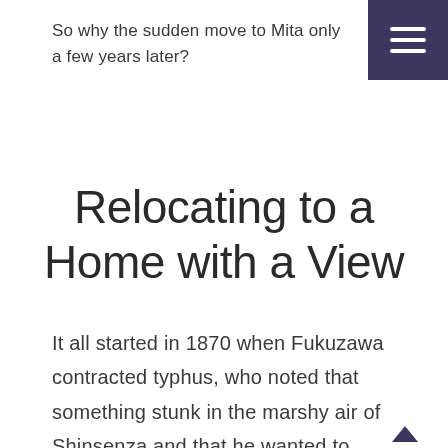So why the sudden move to Mita only a few years later?
Relocating to a Home with a View
It all started in 1870 when Fukuzawa contracted typhus, who noted that something stunk in the marshy air of Shinsenza and that he wanted to move elsewhere, according to his autobiography.